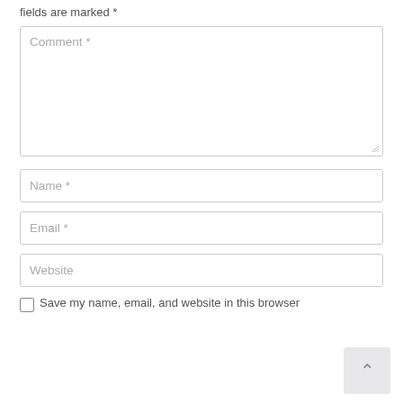fields are marked *
Comment *
Name *
Email *
Website
Save my name, email, and website in this browser